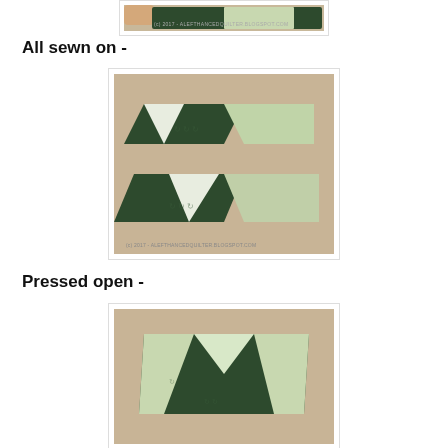[Figure (photo): Partial view of quilt fabric pieces with watermark (c) 2017 - ALEFTHANCEDQUILTER.BLOGSPOT.COM]
All sewn on -
[Figure (photo): Two pairs of quilt fabric pieces sewn together showing dark green and white/light green fabric on carpet background with watermark]
Pressed open -
[Figure (photo): Quilt fabric piece pressed open showing dark green and light floral fabric on carpet background]